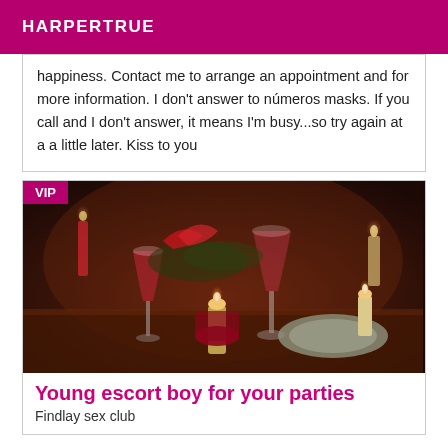HARPERTRUE
happiness. Contact me to arrange an appointment and for more information. I don't answer to números masks. If you call and I don't answer, it means I'm busy...so try again at a a little later. Kiss to you
[Figure (photo): Romantic candlelit dinner table with wine glasses and candles, dark warm atmosphere. VIP badge in top-left corner.]
Young escort boy for your parties
Findlay sex club